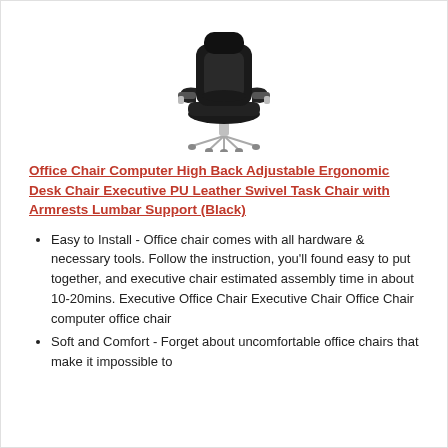[Figure (photo): Black executive office chair with padded armrests, high back, and chrome star base with casters, viewed from a front-angled perspective.]
Office Chair Computer High Back Adjustable Ergonomic Desk Chair Executive PU Leather Swivel Task Chair with Armrests Lumbar Support (Black)
Easy to Install - Office chair comes with all hardware & necessary tools. Follow the instruction, you'll found easy to put together, and executive chair estimated assembly time in about 10-20mins. Executive Office Chair Executive Chair Office Chair computer office chair
Soft and Comfort - Forget about uncomfortable office chairs that make it impossible to